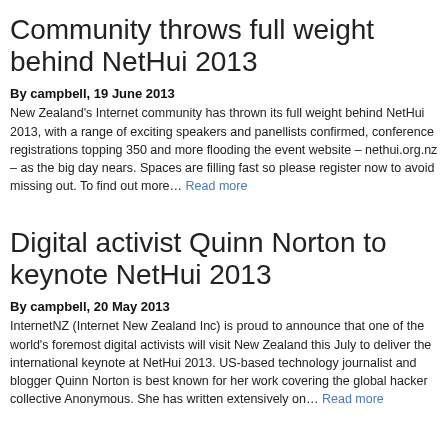Community throws full weight behind NetHui 2013
By campbell, 19 June 2013
New Zealand's Internet community has thrown its full weight behind NetHui 2013, with a range of exciting speakers and panellists confirmed, conference registrations topping 350 and more flooding the event website – nethui.org.nz – as the big day nears. Spaces are filling fast so please register now to avoid missing out. To find out more… Read more
Digital activist Quinn Norton to keynote NetHui 2013
By campbell, 20 May 2013
InternetNZ (Internet New Zealand Inc) is proud to announce that one of the world's foremost digital activists will visit New Zealand this July to deliver the international keynote at NetHui 2013. US-based technology journalist and blogger Quinn Norton is best known for her work covering the global hacker collective Anonymous. She has written extensively on… Read more